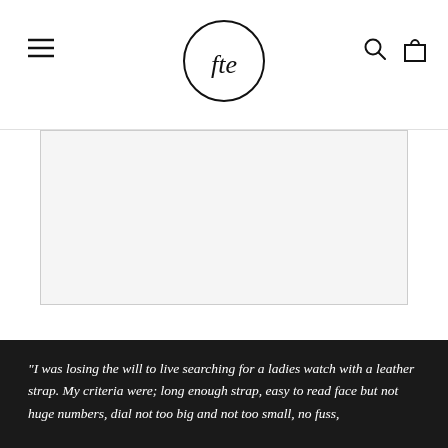fte (logo) — navigation header with hamburger menu, logo, search and cart icons
[Figure (photo): A large rectangular image placeholder area with a light gray background and border]
"I was losing the will to live searching for a ladies watch with a leather strap. My criteria were; long enough strap, easy to read face but not huge numbers, dial not too big and not too small, no fuss,